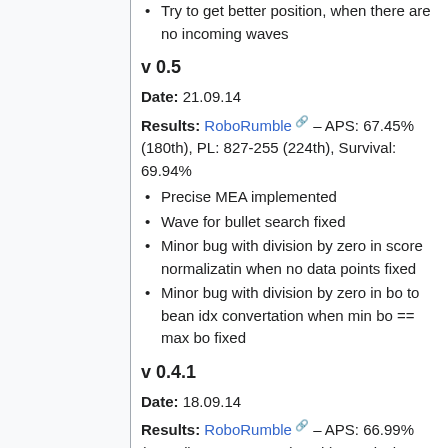Try to get better position, when there are no incoming waves
v 0.5
Date: 21.09.14
Results: RoboRumble – APS: 67.45% (180th), PL: 827-255 (224th), Survival: 69.94%
Precise MEA implemented
Wave for bullet search fixed
Minor bug with division by zero in score normalizatin when no data points fixed
Minor bug with division by zero in bo to bean idx convertation when min bo == max bo fixed
v 0.4.1
Date: 18.09.14
Results: RoboRumble – APS: 66.99% (192nd), PL: 835-247 (217th), Survival: